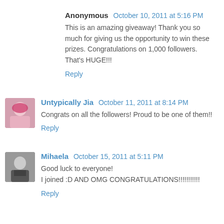Anonymous October 10, 2011 at 5:16 PM
This is an amazing giveaway! Thank you so much for giving us the opportunity to win these prizes. Congratulations on 1,000 followers. That's HUGE!!!
Reply
Untypically Jia October 11, 2011 at 8:14 PM
Congrats on all the followers! Proud to be one of them!!
Reply
Mihaela October 15, 2011 at 5:11 PM
Good luck to everyone!
I joined :D AND OMG CONGRATULATIONS!!!!!!!!!!!
Reply